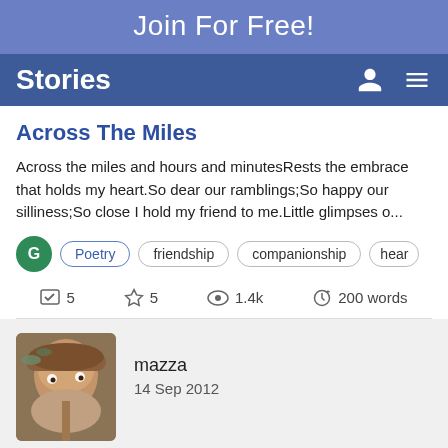Join For Free!
Stories
Across The Miles
Across the miles and hours and minutesRests the embrace that holds my heart.So dear our ramblings;So happy our silliness;So close I hold my friend to me.Little glimpses o...
G  Poetry  friendship  companionship  hear
5   5   1.4k   200 words
mazza
14 Sep 2012
Seamus
How I gave a home to someone that was lost